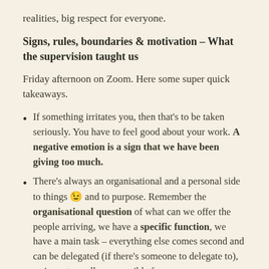realities, big respect for everyone.
Signs, rules, boundaries & motivation – What the supervision taught us
Friday afternoon on Zoom. Here some super quick takeaways.
If something irritates you, then that's to be taken seriously. You have to feel good about your work. A negative emotion is a sign that we have been giving too much.
There's always an organisational and a personal side to things 😉 and to purpose. Remember the organisational question of what can we offer the people arriving, we have a specific function, we have a main task – everything else comes second and can be delegated (if there's someone to delegate to), we're not equally responsible for